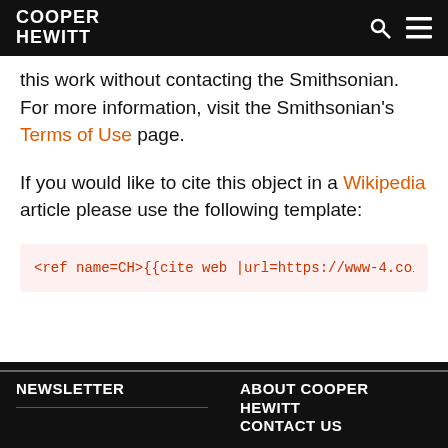COOPER HEWITT
this work without contacting the Smithsonian. For more information, visit the Smithsonian's Terms of Use page.
If you would like to cite this object in a Wikipedia article please use the following template:
<ref name=CH>{{cite web |url=https://www-4.collectio
NEWSLETTER | ABOUT COOPER HEWITT CONTACT US